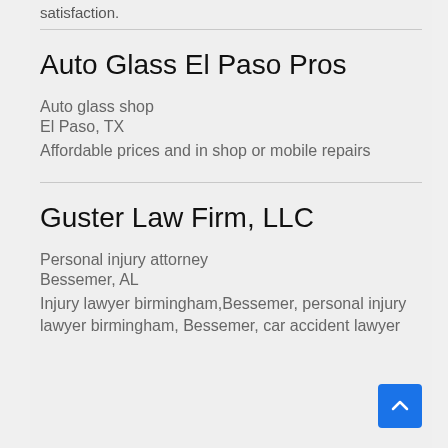satisfaction.
Auto Glass El Paso Pros
Auto glass shop
El Paso, TX
Affordable prices and in shop or mobile repairs
Guster Law Firm, LLC
Personal injury attorney
Bessemer, AL
Injury lawyer birmingham,Bessemer, personal injury lawyer birmingham, Bessemer, car accident lawyer